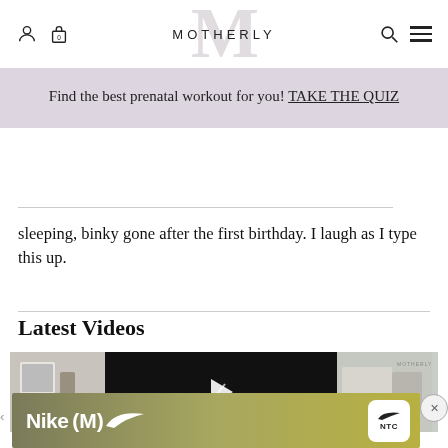MOTHERLY
Find the best prenatal workout for you! TAKE THE QUIZ
sleeping, binky gone after the first birthday. I laugh as I type this up.
Latest Videos
[Figure (screenshot): Video thumbnail area with a video player showing a play button on a black center panel, with partial kitchen/home images on left and right, and a Nike (M) advertisement banner at the bottom.]